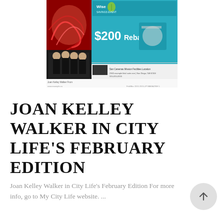[Figure (photo): Screenshot of a magazine page showing a red swirling artwork on the left side, women in black attire at bottom left, and a teal/cyan advertisement for $200 Rebate on the right side with product images.]
JOAN KELLEY WALKER IN CITY LIFE'S FEBRUARY EDITION
Joan Kelley Walker in City Life's February Edition For more info, go to My City Life website. ...